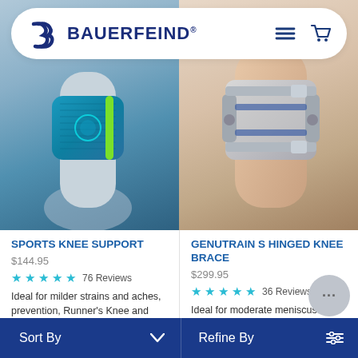BAUERFEIND®
[Figure (photo): Sports knee support product photo - colorful teal and green knit knee brace on athlete leg]
[Figure (photo): GenuTrain S Hinged Knee Brace product photo - grey hinged brace on leg]
SPORTS KNEE SUPPORT
$144.95
★★★★★ 76 Reviews
Ideal for milder strains and aches, prevention, Runner's Knee and Jumper's Knee especially during periods...
GENUTRAIN S HINGED KNEE BRACE
$299.95
★★★★★ 36 Reviews
Ideal for moderate meniscus and arthritis issues, mild ACL and PCL injuries as well as...
Sort By | Refine By